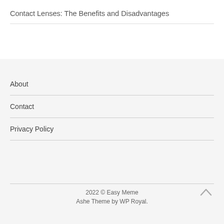Contact Lenses: The Benefits and Disadvantages
About
Contact
Privacy Policy
2022 © Easy Meme
Ashe Theme by WP Royal.